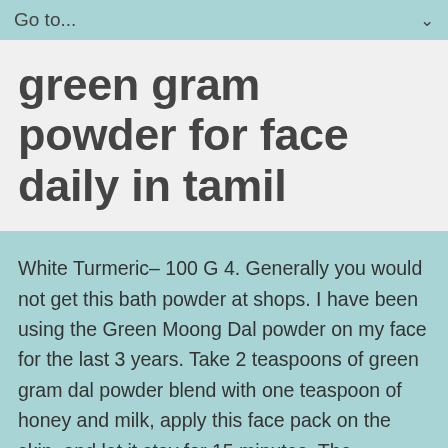Go to...
green gram powder for face daily in tamil
White Turmeric– 100 G 4. Generally you would not get this bath powder at shops. I have been using the Green Moong Dal powder on my face for the last 3 years. Take 2 teaspoons of green gram dal powder blend with one teaspoon of honey and milk, apply this face pack on the skin, and let it stay for 15 minutes. The cleansing properties of green gram dal face pack are highly effective in healing acne. Contextual translation of "gram flour" into Tamil. You can use Gram flour and mix it with raw milk or